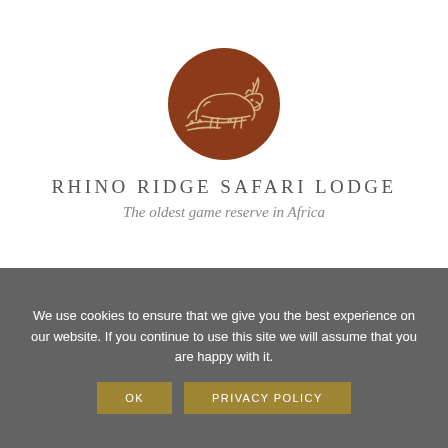[Figure (logo): Round brown circle logo with white line-art illustration of a rhinoceros head in profile, facing right]
RHINO RIDGE SAFARI LODGE
The oldest game reserve in Africa
We use cookies to ensure that we give you the best experience on our website. If you continue to use this site we will assume that you are happy with it.
OK   PRIVACY POLICY